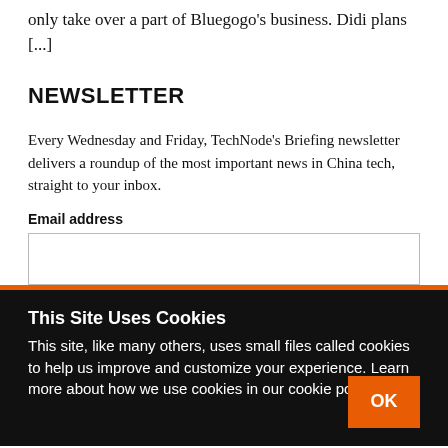only take over a part of Bluegogo's business. Didi plans [...]
NEWSLETTER
Every Wednesday and Friday, TechNode's Briefing newsletter delivers a roundup of the most important news in China tech, straight to your inbox.
Email address
This Site Uses Cookies
This site, like many others, uses small files called cookies to help us improve and customize your experience. Learn more about how we use cookies in our cookie policy.